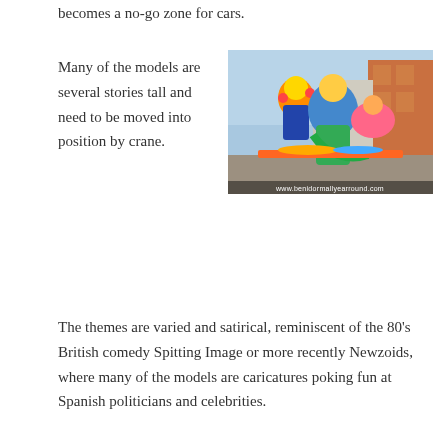becomes a no-go zone for cars.
Many of the models are several stories tall and need to be moved into position by crane.
[Figure (photo): Large colorful carnival float sculptures of caricature figures with painted faces, displayed on a city street with buildings in the background. Watermark reads www.benidormallyearround.com]
The themes are varied and satirical, reminiscent of the 80's British comedy Spitting Image or more recently Newzoids, where many of the models are caricatures poking fun at Spanish politicians and celebrities.